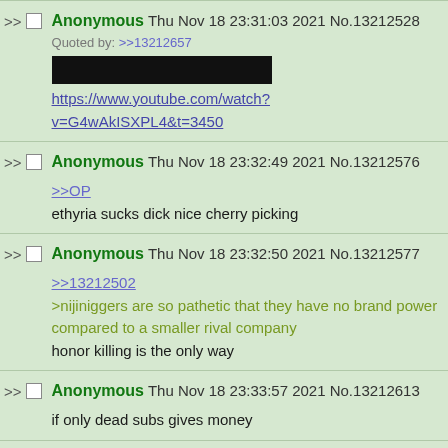Anonymous Thu Nov 18 23:31:03 2021 No.13212528
Quoted by: >>13212657
[redacted image]
https://www.youtube.com/watch?v=G4wAkISXPL4&t=3450
Anonymous Thu Nov 18 23:32:49 2021 No.13212576
>>OP
ethyria sucks dick nice cherry picking
Anonymous Thu Nov 18 23:32:50 2021 No.13212577
>>13212502
>nijiniggers are so pathetic that they have no brand power compared to a smaller rival company
honor killing is the only way
Anonymous Thu Nov 18 23:33:57 2021 No.13212613
if only dead subs gives money
Anonymous Thu Nov 18 23:35:13 2021 No.13212646